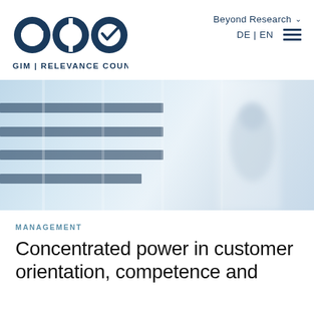[Figure (logo): GIM logo — three circular icons followed by text 'GIM | RELEVANCE COUNTS.']
Beyond Research  DE | EN
[Figure (photo): Blurred hero image of a glass office building interior with horizontal dark blinds and a person silhouette in the background, blue-grey tones.]
MANAGEMENT
Concentrated power in customer orientation, competence and